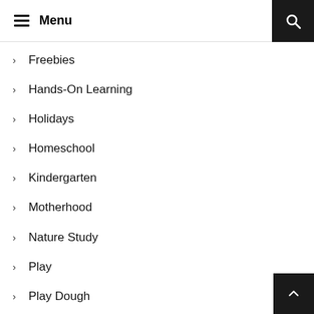Menu
Freebies
Hands-On Learning
Holidays
Homeschool
Kindergarten
Motherhood
Nature Study
Play
Play Dough
Preschool